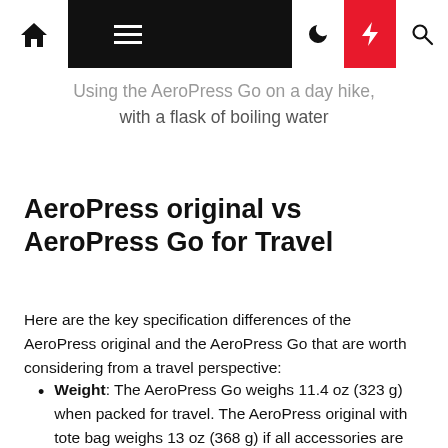[Navigation bar with home, menu, dark mode, lightning, and search icons]
Using the AeroPress Go on a day hike, with a flask of boiling water
AeroPress original vs AeroPress Go for Travel
Here are the key specification differences of the AeroPress original and the AeroPress Go that are worth considering from a travel perspective:
Weight: The AeroPress Go weighs 11.4 oz (323 g) when packed for travel. The AeroPress original with tote bag weighs 13 oz (368 g) if all accessories are packed, or 8 oz (225 g) when packed with the key items for travel as